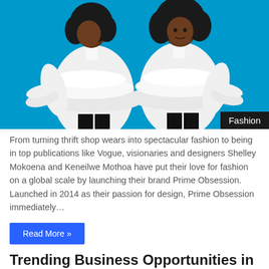[Figure (photo): Two Black women wearing white tiered ruffle oversized shirts standing against a bright blue background. One faces away, the other faces forward. A dark badge in the lower-right corner reads 'Fashion'.]
From turning thrift shop wears into spectacular fashion to being in top publications like Vogue, visionaries and designers Shelley Mokoena and Keneilwe Mothoa have put their love for fashion on a global scale by launching their brand Prime Obsession.  Launched in 2014 as their passion for design, Prime Obsession immediately…
Read More »
Trending Business Opportunities in